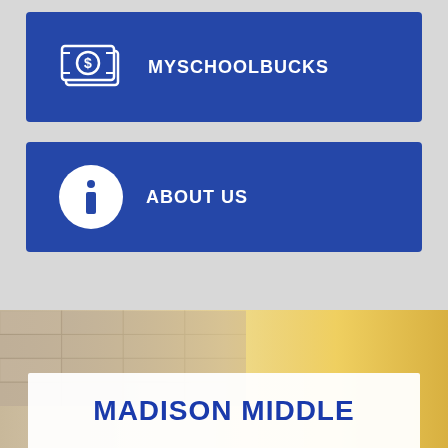[Figure (infographic): Blue button card with money/dollar bill icon and label MYSCHOOLBUCKS]
[Figure (infographic): Blue button card with info circle icon and label ABOUT US]
[Figure (photo): School corridor with ceiling tiles, beige and golden yellow tones]
MADISON MIDDLE